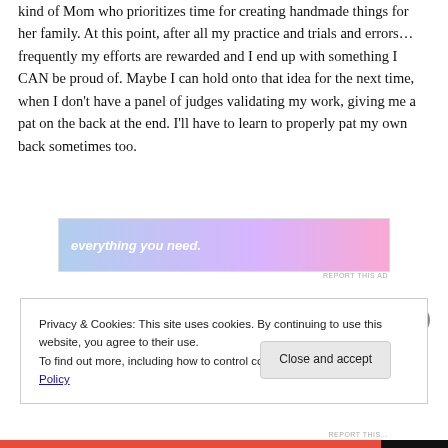kind of Mom who prioritizes time for creating handmade things for her family. At this point, after all my practice and trials and errors… frequently my efforts are rewarded and I end up with something I CAN be proud of. Maybe I can hold onto that idea for the next time, when I don't have a panel of judges validating my work, giving me a pat on the back at the end. I'll have to learn to properly pat my own back sometimes too.
[Figure (other): Advertisement banner with gradient background (blue to pink) and text 'everything you need.' in italic white font]
Privacy & Cookies: This site uses cookies. By continuing to use this website, you agree to their use.
To find out more, including how to control cookies, see here: Cookie Policy
Close and accept